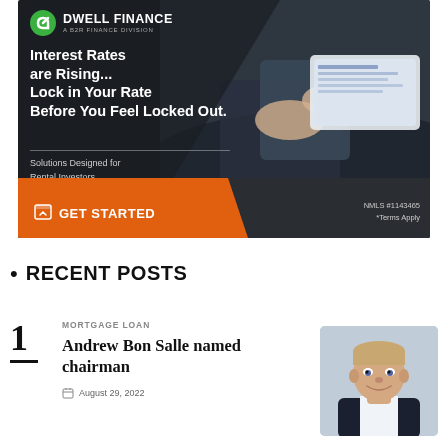[Figure (infographic): Dwell Finance advertisement banner. Dark background with person using tablet. Text: Interest Rates are Rising... Lock in Your Rate Before You Feel Locked Out. Solutions Designed for Rental Investors. GET STARTED button. NMLS #1143465 *Terms Apply.]
RECENT POSTS
MORTGAGE LOAN
Andrew Bon Salle named chairman
August 29, 2022